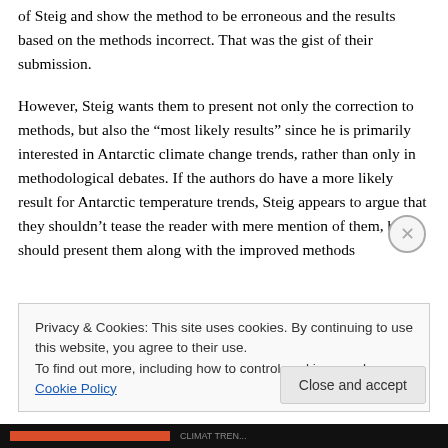of Steig and show the method to be erroneous and the results based on the methods incorrect. That was the gist of their submission.
However, Steig wants them to present not only the correction to methods, but also the “most likely results” since he is primarily interested in Antarctic climate change trends, rather than only in methodological debates. If the authors do have a more likely result for Antarctic temperature trends, Steig appears to argue that they shouldn’t tease the reader with mere mention of them, but should present them along with the improved methods
Privacy & Cookies: This site uses cookies. By continuing to use this website, you agree to their use.
To find out more, including how to control cookies, see here: Cookie Policy